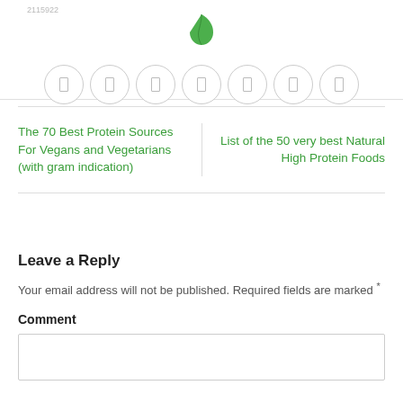2115922
[Figure (logo): Green leaf icon centered in page header]
[Figure (other): Seven social media icon circles in a row]
The 70 Best Protein Sources For Vegans and Vegetarians (with gram indication)
List of the 50 very best Natural High Protein Foods
Leave a Reply
Your email address will not be published. Required fields are marked *
Comment